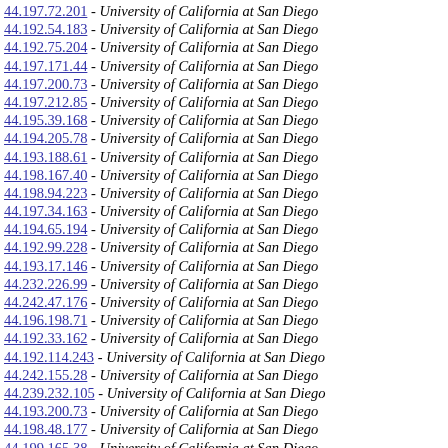44.197.72.201 - University of California at San Diego
44.192.54.183 - University of California at San Diego
44.192.75.204 - University of California at San Diego
44.197.171.44 - University of California at San Diego
44.197.200.73 - University of California at San Diego
44.197.212.85 - University of California at San Diego
44.195.39.168 - University of California at San Diego
44.194.205.78 - University of California at San Diego
44.193.188.61 - University of California at San Diego
44.198.167.40 - University of California at San Diego
44.198.94.223 - University of California at San Diego
44.197.34.163 - University of California at San Diego
44.194.65.194 - University of California at San Diego
44.192.99.228 - University of California at San Diego
44.193.17.146 - University of California at San Diego
44.232.226.99 - University of California at San Diego
44.242.47.176 - University of California at San Diego
44.196.198.71 - University of California at San Diego
44.192.33.162 - University of California at San Diego
44.192.114.243 - University of California at San Diego
44.242.155.28 - University of California at San Diego
44.239.232.105 - University of California at San Diego
44.193.200.73 - University of California at San Diego
44.198.48.177 - University of California at San Diego
44.199.165.38 - University of California at San Diego
44.241.112.241 - University of California at San Diego
44.196.66.195 - University of California at San Diego
44.241.63.192 - University of California at San Diego
44.235.203.76 - University of California at San Diego
44.197.228.101 - University of California at San Diego